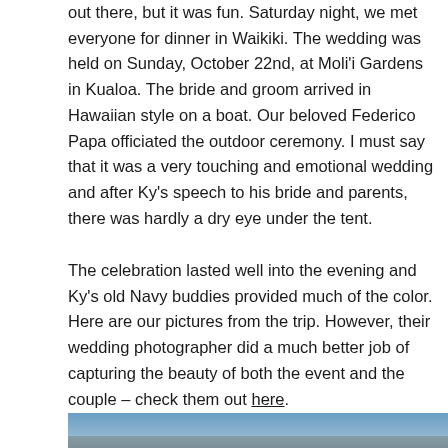out there, but it was fun. Saturday night, we met everyone for dinner in Waikiki. The wedding was held on Sunday, October 22nd, at Moli'i Gardens in Kualoa. The bride and groom arrived in Hawaiian style on a boat. Our beloved Federico Papa officiated the outdoor ceremony. I must say that it was a very touching and emotional wedding and after Ky's speech to his bride and parents, there was hardly a dry eye under the tent.
The celebration lasted well into the evening and Ky's old Navy buddies provided much of the color. Here are our pictures from the trip. However, their wedding photographer did a much better job of capturing the beauty of both the event and the couple – check them out here.
[Figure (photo): Partial photo showing a blue sky, cropped at the bottom of the page.]